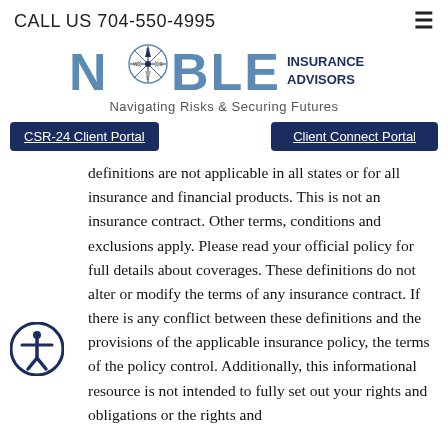CALL US 704-550-4995
[Figure (logo): Noble Insurance Advisors logo with compass rose replacing the 'O' in Noble, blue text. Tagline: Navigating Risks & Securing Futures]
CSR-24 Client Portal
Client Connect Portal
definitions are not applicable in all states or for all insurance and financial products. This is not an insurance contract. Other terms, conditions and exclusions apply. Please read your official policy for full details about coverages. These definitions do not alter or modify the terms of any insurance contract. If there is any conflict between these definitions and the provisions of the applicable insurance policy, the terms of the policy control. Additionally, this informational resource is not intended to fully set out your rights and obligations or the rights and